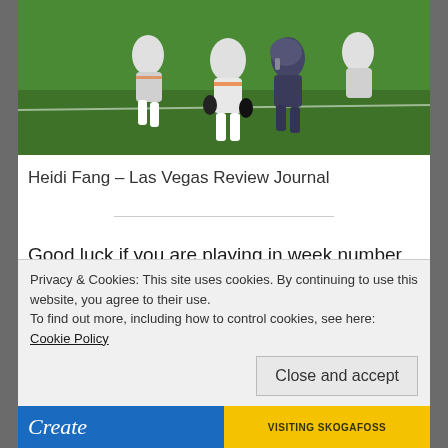[Figure (photo): NFL football players on a green field, action shot showing players in white and dark uniforms running/blocking]
Heidi Fang – Las Vegas Review Journal
Good luck if you are playing in week number 13. Catch me tomorrow on the Full10 Yards NFL podcast where we will be reviewing all of the action.
Privacy & Cookies: This site uses cookies. By continuing to use this website, you agree to their use.
To find out more, including how to control cookies, see here: Cookie Policy
Close and accept
[Figure (screenshot): Bottom advertisement strip with 'Create' text on blue background and 'VISITING SKOGAFOSS' on yellow background]